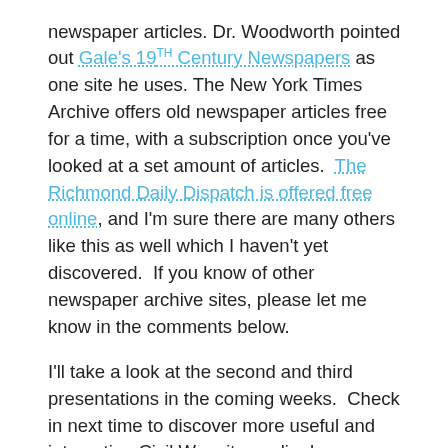newspaper articles. Dr. Woodworth pointed out Gale's 19th Century Newspapers as one site he uses. The New York Times Archive offers old newspaper articles free for a time, with a subscription once you've looked at a set amount of articles. The Richmond Daily Dispatch is offered free online, and I'm sure there are many others like this as well which I haven't yet discovered. If you know of other newspaper archive sites, please let me know in the comments below.
I'll take a look at the second and third presentations in the coming weeks. Check in next time to discover more useful and interesting Civil War sites online!
Check out Beyond the Crater: The Petersburg Campaign Online!
Check out Brett's list of the Top 10 Civil War Blogs!